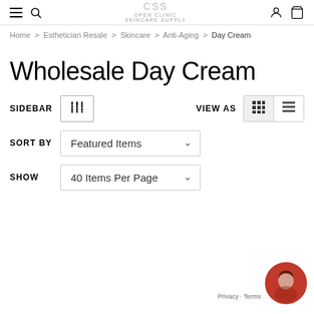CSS OPEN CLINIC SKINCARE SUPPLY
Home > Esthetician Resale > Skincare > Anti-Aging > Day Cream
Wholesale Day Cream
SIDEBAR | VIEW AS | SORT BY Featured Items | SHOW 40 Items Per Page